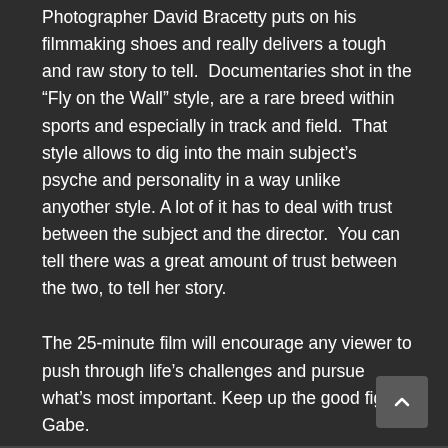Photographer David Bracetty puts on his filmmaking shoes and really delivers a tough and raw story to tell.  Documentaries shot in the “Fly on the Wall” style, are a rare breed within sports and especially in track and field.  That style allows to dig into the main subject’s psyche and personality in a way unlike anyother style. A lot of it has to deal with trust between the subject and the director.  You can tell there was a great amount of trust between the two, to tell her story.
The 25-minute film will encourage any viewer to push through life’s challenges and pursue what’s most important. Keep up the good fight, Gabe.